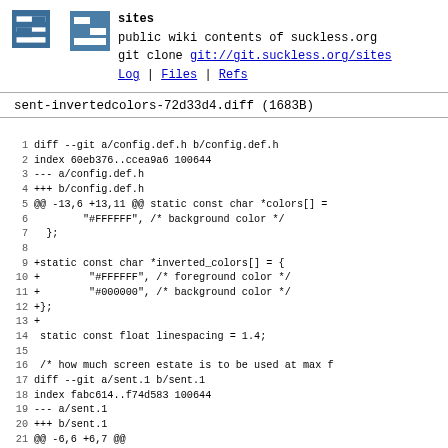sites
public wiki contents of suckless.org
git clone git://git.suckless.org/sites
Log | Files | Refs
sent-invertedcolors-72d33d4.diff (1683B)
1 diff --git a/config.def.h b/config.def.h
2 index 60eb376..ccea9a6 100644
3 --- a/config.def.h
4 +++ b/config.def.h
5 @@ -13,6 +13,11 @@ static const char *colors[] =
6         "#FFFFFF", /* background color */
7   };
8
9 +static const char *inverted_colors[] = {
10 +        "#FFFFFF", /* foreground color */
11 +        "#000000", /* background color */
12 +};
13 +
14  static const float linespacing = 1.4;
15
16  /* how much screen estate is to be used at max f
17 diff --git a/sent.1 b/sent.1
18 index fabc614..f74d583 100644
19 --- a/sent.1
20 +++ b/sent.1
21 @@ -6,6 +6,7 @@